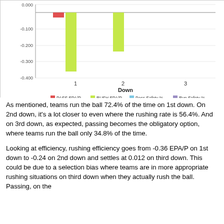[Figure (grouped-bar-chart): ]
As mentioned, teams run the ball 72.4% of the time on 1st down. On 2nd down, it's a lot closer to even where the rushing rate is 56.4%.  And on 3rd down, as expected, passing becomes the obligatory option, where teams run the ball only 34.8% of the time.
Looking at efficiency, rushing efficiency goes from -0.36 EPA/P on 1st down to -0.24 on 2nd down and settles at 0.012 on third down. This could be due to a selection bias where teams are in more appropriate rushing situations on third down when they actually rush the ball. Passing, on the other hand, goes from -0.04 on 1st down to -0.05 on 2nd down.